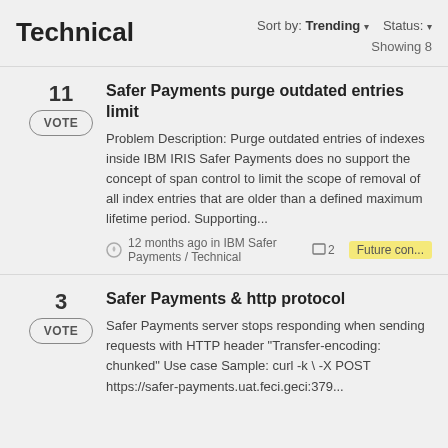Technical
Sort by: Trending ▾   Status: ▾
Showing 8
11
Safer Payments purge outdated entries limit
Problem Description: Purge outdated entries of indexes inside IBM IRIS Safer Payments does not support the concept of span control to limit the scope of removal of all index entries that are older than a defined maximum lifetime period. Supporting...
12 months ago in IBM Safer Payments / Technical   □ 2   Future con...
3
Safer Payments & http protocol
Safer Payments server stops responding when sending requests with HTTP header "Transfer-encoding: chunked" Use case Sample: curl -k \ -X POST https://safer-payments.uat.feci.geci:379...